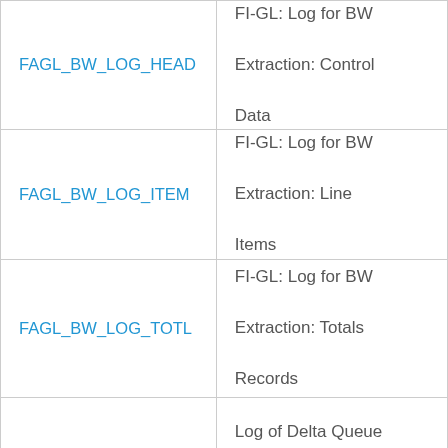| FAGL_BW_LOG_HEAD | FI-GL: Log for BW Extraction: Control Data |
| FAGL_BW_LOG_ITEM | FI-GL: Log for BW Extraction: Line Items |
| FAGL_BW_LOG_TOTL | FI-GL: Log for BW Extraction: Totals Records |
| FAGL_QUEUE_LOG | Log of Delta Queue for Error Analysis |
|  |  |